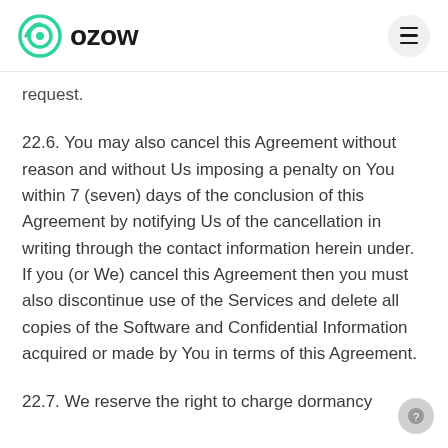OZOW
request.
22.6. You may also cancel this Agreement without reason and without Us imposing a penalty on You within 7 (seven) days of the conclusion of this Agreement by notifying Us of the cancellation in writing through the contact information herein under. If you (or We) cancel this Agreement then you must also discontinue use of the Services and delete all copies of the Software and Confidential Information acquired or made by You in terms of this Agreement.
22.7. We reserve the right to charge dormancy